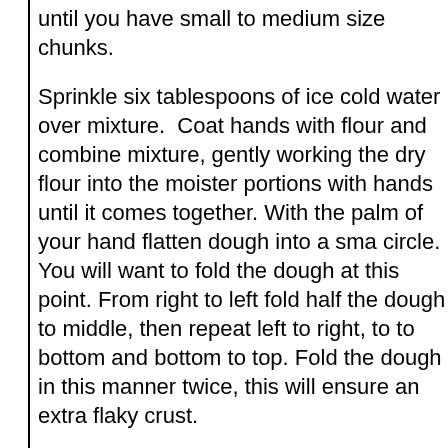until you have small to medium size chunks.
Sprinkle six tablespoons of ice cold water over mixture.  Coat hands with flour and combine mixture, gently working the dry flour into the moister portions with hands until it comes together. With the palm of your hand flatten dough into a small circle.  You will want to fold the dough at this point. From right to left fold half the dough to middle, then repeat left to right, top to bottom and bottom to top. Fold the dough in this manner twice, this will ensure an extra flaky crust.
Cut dough into two equal portions. Move dough to each side of the parchment and cut parchment into two equal portions. Wrap each half of the dough with the parchment.
At this point, you can refrigerate the parchment wrapped pastry for 30 minutes and it will be ready to use.
If you want to store for later use:
Wrap parchment covered halves with plastic wrap, you can wrap both halves together if you will be using together. If using at separate times, wrap each in plastic wrap. Place both halves